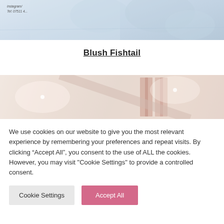[Figure (photo): Top portion of a photo showing translucent/clear shoes or sandals on a light blue/grey surface, with a business card visible showing Instagram and Tel contact info]
Blush Fishtail
[Figure (photo): Partial photo showing a soft pink/blush and green pastel interior scene, with what appears to be curtains or draping fabric in muted pink tones]
We use cookies on our website to give you the most relevant experience by remembering your preferences and repeat visits. By clicking “Accept All”, you consent to the use of ALL the cookies. However, you may visit "Cookie Settings" to provide a controlled consent.
Cookie Settings
Accept All